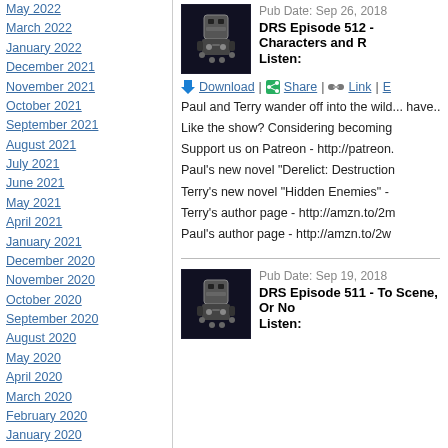May 2022
March 2022
January 2022
December 2021
November 2021
October 2021
September 2021
August 2021
July 2021
June 2021
May 2021
April 2021
January 2021
December 2020
November 2020
October 2020
September 2020
August 2020
May 2020
April 2020
March 2020
February 2020
January 2020
December 2019
November 2019
September 2019
August 2019
July 2019
June 2019
May 2019
April 2019
March 2019
February 2019
Pub Date: Sep 26, 2018
DRS Episode 512 - Characters and R
Listen:
Download | Share | Link | E
Paul and Terry wander off into the wild... have...
Like the show? Considering becoming
Support us on Patreon - http://patreon.
Paul's new novel "Derelict: Destruction
Terry's new novel "Hidden Enemies" -
Terry's author page - http://amzn.to/2m
Paul's author page - http://amzn.to/2w
Pub Date: Sep 19, 2018
DRS Episode 511 - To Scene, Or No
Listen: